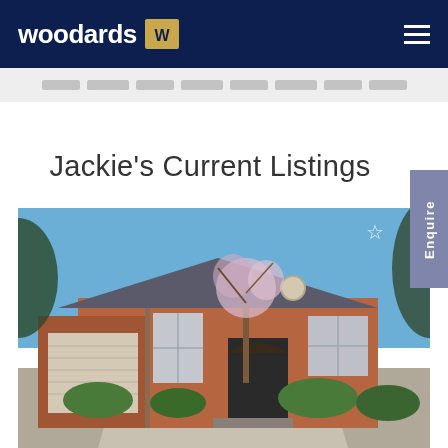woodards
Jackie's Current Listings
[Figure (photo): Exterior photo of a single-storey brick home with a garage on the left, large windows, decorative flowering tree in the centre, and a concrete driveway]
Enquire